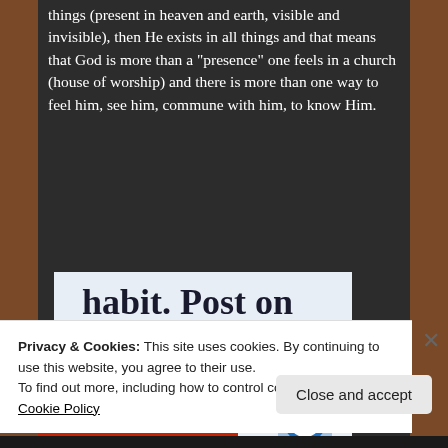things (present in heaven and earth, visible and invisible), then He exists in all things and that means that God is more than a "presence" one feels in a church (house of worship) and there is more than one way to feel him, see him, commune with him, to know Him.
[Figure (screenshot): WordPress app advertisement showing text 'habit. Post on the go.' with 'GET THE APP' link and WordPress logo]
Privacy & Cookies: This site uses cookies. By continuing to use this website, you agree to their use.
To find out more, including how to control cookies, see here: Cookie Policy